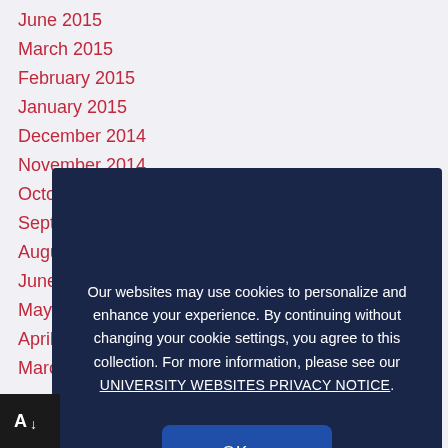June 2015
March 2015
February 2015
January 2015
December 2014
November 2014
October 2014
September 2014
August 2014
June 2014
May 2014
April 2014
March 2014
Our websites may use cookies to personalize and enhance your experience. By continuing without changing your cookie settings, you agree to this collection. For more information, please see our UNIVERSITY WEBSITES PRIVACY NOTICE.